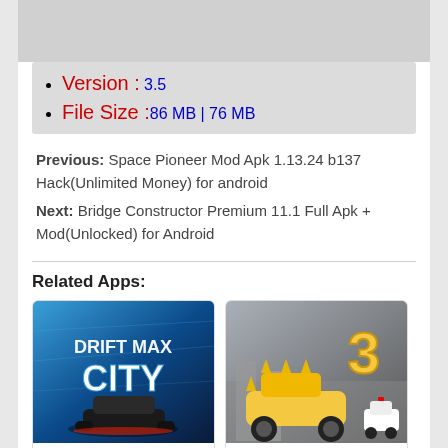Version : 3.5
File Size :86 MB | 76 MB
Previous: Space Pioneer Mod Apk 1.13.24 b137 Hack(Unlimited Money) for android
Next: Bridge Constructor Premium 11.1 Full Apk + Mod(Unlocked) for Android
Related Apps:
[Figure (screenshot): Drift Max City game app icon showing a black sports car on a blue background with text DRIFT MAX CITY]
Drift Max City Mod Apk 2.99
[Figure (screenshot): Car Eats Car 3 Racing Game app icon showing a yellow vehicle with saw blade wheels chasing a small police car, with large number 3]
Car Eats Car 3 – Racing Game Mod